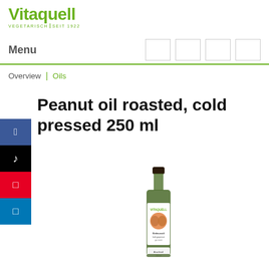Vitaquell VEGETARISCH | SEIT 1922
Menu
Overview | Oils
Peanut oil roasted, cold pressed 250 ml
[Figure (photo): Product photo of a Vitaquell peanut oil bottle, 250ml, dark glass bottle with label showing peanuts]